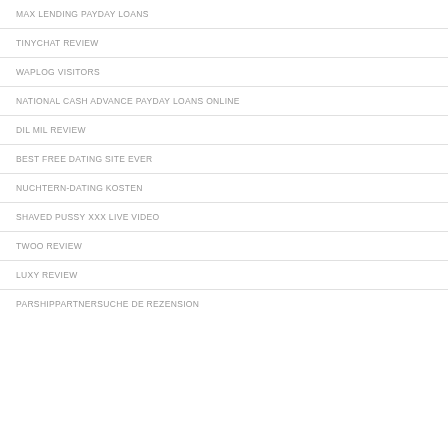MAX LENDING PAYDAY LOANS
TINYCHAT REVIEW
WAPLOG VISITORS
NATIONAL CASH ADVANCE PAYDAY LOANS ONLINE
DIL MIL REVIEW
BEST FREE DATING SITE EVER
NUCHTERN-DATING KOSTEN
SHAVED PUSSY XXX LIVE VIDEO
TWOO REVIEW
LUXY REVIEW
PARSHIPPARTNERSUCHE DE REZENSION